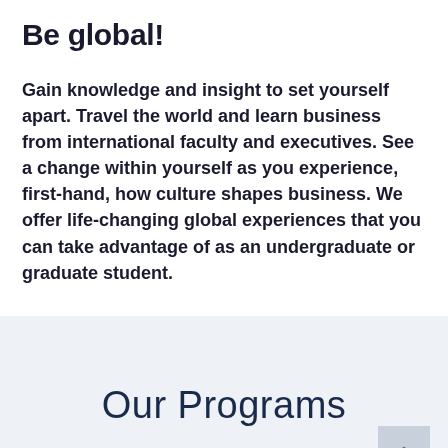Be global!
Gain knowledge and insight to set yourself apart. Travel the world and learn business from international faculty and executives. See a change within yourself as you experience, first-hand, how culture shapes business. We offer life-changing global experiences that you can take advantage of as an undergraduate or graduate student.
Our Programs